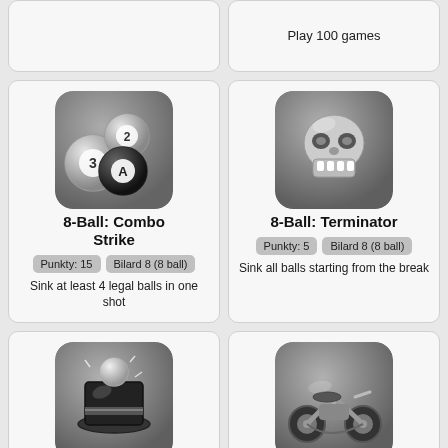Play 100 games
[Figure (illustration): 8-Ball Combo Strike game icon with billiard balls numbered 2, 3, 4]
8-Ball: Combo Strike
Punkty: 15
Bilard 8 (8 ball)
Sink at least 4 legal balls in one shot
[Figure (illustration): 8-Ball Terminator game icon with skull/robot face]
8-Ball: Terminator
Punkty: 5
Bilard 8 (8 ball)
Sink all balls starting from the break
[Figure (illustration): 8-Ball Magician game icon with magician hat and billiard ball]
8-Ball: Magician
Punkty: 1
Bilard 8 (8 ball)
[Figure (illustration): 8-Ball Moto Rider game icon with motorcycle]
8-Ball: Moto Rider
Punkty: 1
Bilard 8 (8 ball)